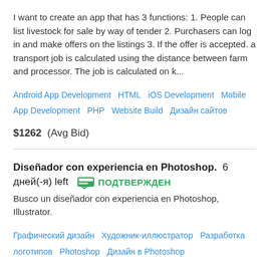I want to create an app that has 3 functions: 1. People can list livestock for sale by way of tender 2. Purchasers can log in and make offers on the listings 3. If the offer is accepted. a transport job is calculated using the distance between farm and processor. The job is calculated on k...
Android App Development   HTML   iOS Development   Mobile App Development   PHP   Website Build   Дизайн сайтов
$1262  (Avg Bid)
Diseñador con experiencia en Photoshop.  6 дней(-я) left  ПОДТВЕРЖДЕН
Busco un diseñador con experiencia en Photoshop, Illustrator.
Графический дизайн   Художник-иллюстратор   Разработка логотипов   Photoshop   Дизайн в Photoshop